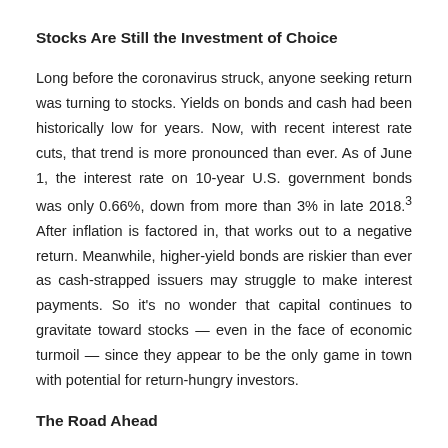Stocks Are Still the Investment of Choice
Long before the coronavirus struck, anyone seeking return was turning to stocks. Yields on bonds and cash had been historically low for years. Now, with recent interest rate cuts, that trend is more pronounced than ever. As of June 1, the interest rate on 10-year U.S. government bonds was only 0.66%, down from more than 3% in late 2018.³ After inflation is factored in, that works out to a negative return. Meanwhile, higher-yield bonds are riskier than ever as cash-strapped issuers may struggle to make interest payments. So it's no wonder that capital continues to gravitate toward stocks — even in the face of economic turmoil — since they appear to be the only game in town with potential for return-hungry investors.
The Road Ahead